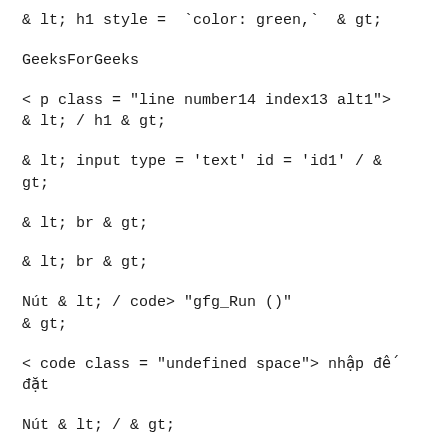& lt; h1 style = `color: green,` & gt;
GeeksForGeeks
< p class = "line number14 index13 alt1">
& lt; / h1 & gt;
& lt; input type = 'text' id = 'id1' / &
gt;
& lt; br & gt;
& lt; br & gt;
Nút & lt; onclick = < / code> "gfg_Run ()"
& gt;
< code class = "undefined space"> nhập để
đặt
Nút & lt; / & gt;
& lt; p id = "GFG_DOWN" style = "color: